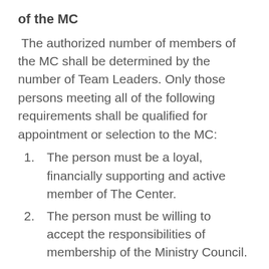of the MC
The authorized number of members of the MC shall be determined by the number of Team Leaders. Only those persons meeting all of the following requirements shall be qualified for appointment or selection to the MC:
1. The person must be a loyal, financially supporting and active member of The Center.
2. The person must be willing to accept the responsibilities of membership of the Ministry Council.
3. The person must have completed